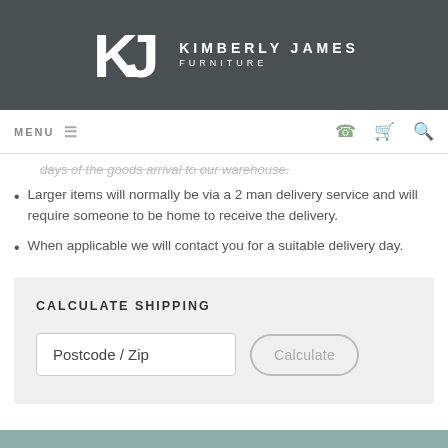KIMBERLY JAMES FURNITURE
MENU
Larger items will normally be via a 2 man delivery service and will require someone to be home to receive the delivery.
When applicable we will contact you for a suitable delivery day.
CALCULATE SHIPPING
Postcode / Zip
Calculate